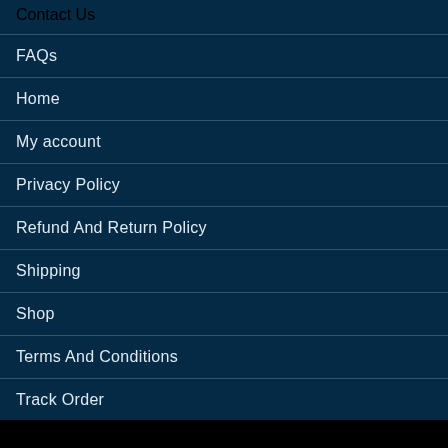Contact Us
FAQs
Home
My account
Privacy Policy
Refund And Return Policy
Shipping
Shop
Terms And Conditions
Track Order
Wishlist